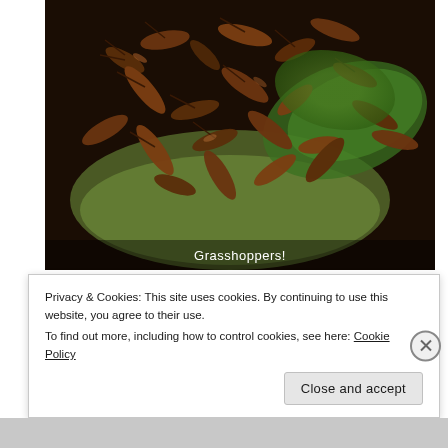[Figure (photo): Close-up photo of a large pile of roasted grasshoppers served on a green leaf in a dark pan, with text overlay 'Grasshoppers!' at the bottom.]
Grasshoppers!
Next up were the famed Teotihuacan pyramids, located about an hour outside of Mexico City in what was once a thriving Mesoamerican civilization...
Privacy & Cookies: This site uses cookies. By continuing to use this website, you agree to their use.
To find out more, including how to control cookies, see here: Cookie Policy
Close and accept